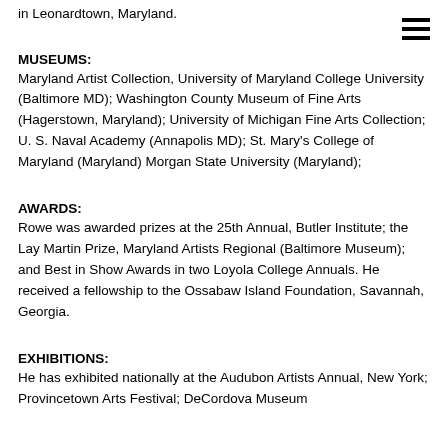in Leonardtown, Maryland.
MUSEUMS:
Maryland Artist Collection, University of Maryland College University (Baltimore MD); Washington County Museum of Fine Arts (Hagerstown, Maryland); University of Michigan Fine Arts Collection; U. S. Naval Academy (Annapolis MD); St. Mary's College of Maryland (Maryland) Morgan State University (Maryland);
AWARDS:
Rowe was awarded prizes at the 25th Annual, Butler Institute; the Lay Martin Prize, Maryland Artists Regional (Baltimore Museum); and Best in Show Awards in two Loyola College Annuals. He received a fellowship to the Ossabaw Island Foundation, Savannah, Georgia.
EXHIBITIONS:
He has exhibited nationally at the Audubon Artists Annual, New York; Provincetown Arts Festival; DeCordova Museum